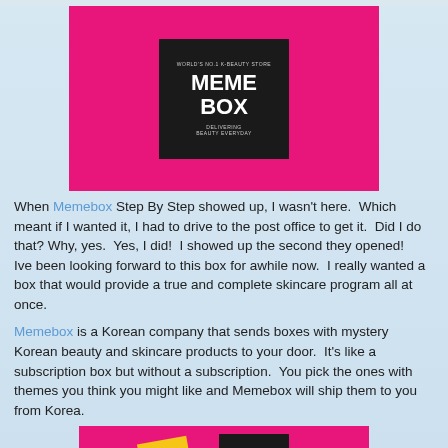[Figure (photo): Pink Memebox package with black label reading WORLD'S NO.1 K-BEAUTY STORE / MEME BOX / DELIVERING BEAUTY EVERYDAY on white background]
When Memebox Step By Step showed up, I wasn't here.  Which meant if I wanted it, I had to drive to the post office to get it.  Did I do that? Why, yes.  Yes, I did!  I showed up the second they opened!
Ive been looking forward to this box for awhile now.  I really wanted a box that would provide a true and complete skincare program all at once.
Memebox is a Korean company that sends boxes with mystery Korean beauty and skincare products to your door.  It's like a subscription box but without a subscription.  You pick the ones with themes you think you might like and Memebox will ship them to you from Korea.
[Figure (photo): Partial view of pink Memebox packaging with Meme logo visible at top]